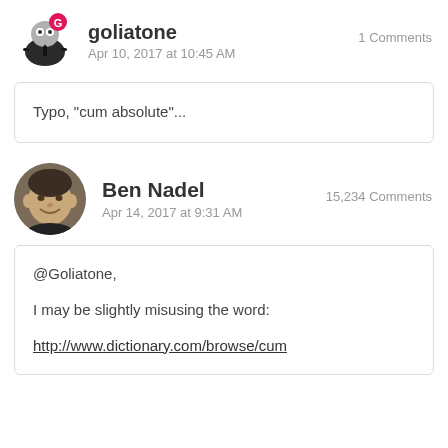goliatone — Apr 10, 2017 at 10:45 AM — 1 Comments
Typo, "cum absolute"...
Ben Nadel — Apr 14, 2017 at 9:31 AM — 15,234 Comments
@Goliatone,

I may be slightly misusing the word:

http://www.dictionary.com/browse/cum